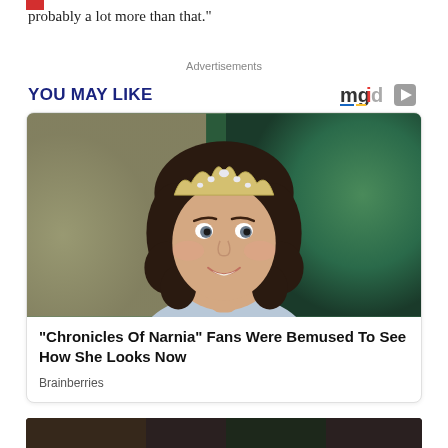probably a lot more than that.”
Advertisements
YOU MAY LIKE
[Figure (logo): mgid logo with play button icon]
[Figure (photo): Young girl with dark curly hair wearing a sparkly tiara crown, smiling, wearing a light blue outfit, with blurred background]
"Chronicles Of Narnia" Fans Were Bemused To See How She Looks Now
Brainberries
[Figure (photo): Partially visible second advertisement image at the bottom of the page]